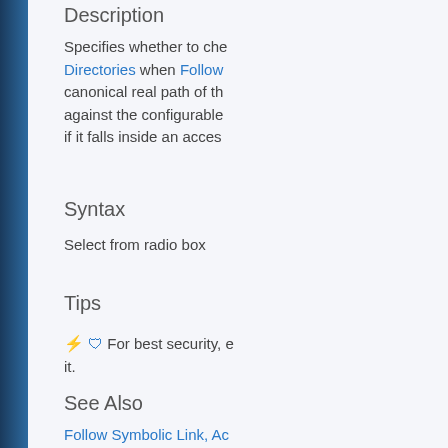Description
Specifies whether to che... Directories when Follow... canonical real path of th... against the configurable... if it falls inside an acces...
Syntax
Select from radio box
Tips
⚡ 🛡 For best security, e... it.
See Also
Follow Symbolic Link, Ac...
Force Strict Owner